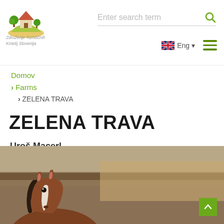[Figure (logo): Farm tourism Slovenia association logo - stylized house on green hill with trees]
Združenje Turističnih Kmetij Slovenija
Enter search term
Eng
Domov
> Farms
> ZELENA TRAVA
ZELENA TRAVA
Uroš Macerl
Altitude: 460 m
Size of the farm: 35 ha
[Figure (photo): Close-up photo of a horse's head (brown horse with white marking, ears visible) with blurred barn/roof in background]